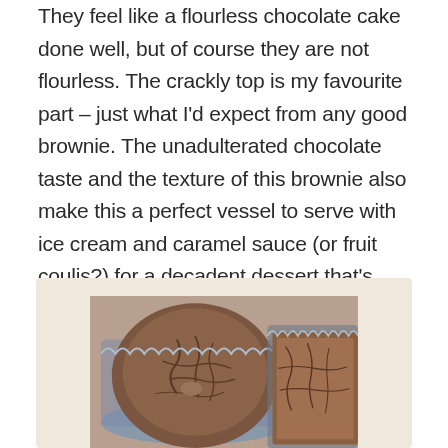They feel like a flourless chocolate cake done well, but of course they are not flourless. The crackly top is my favourite part – just what I'd expect from any good brownie. The unadulterated chocolate taste and the texture of this brownie also make this a perfect vessel to serve with ice cream and caramel sauce (or fruit coulis?) for a decadent dessert that's sure to wow your guests. The best part? I've also discovered that they freeze exceptionally well – and dare I say they taste even better when frozen?
[Figure (photo): Close-up overhead photo of two chocolate brownies in silver fluted baking cups/tins, showing crackly tops with dark brown color]